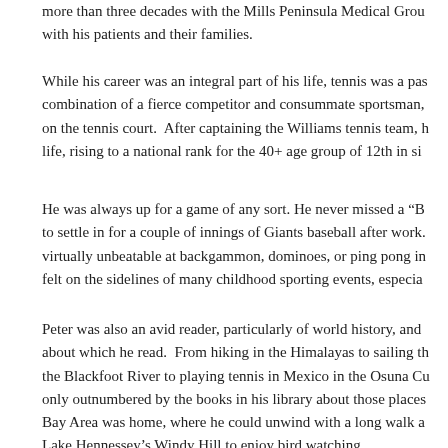more than three decades with the Mills Peninsula Medical Group with his patients and their families.
While his career was an integral part of his life, tennis was a passion — a combination of a fierce competitor and consummate sportsman, on the tennis court. After captaining the Williams tennis team, he continued this for life, rising to a national rank for the 40+ age group of 12th in singles.
He was always up for a game of any sort. He never missed a "B" to settle in for a couple of innings of Giants baseball after work. He was virtually unbeatable at backgammon, dominoes, or ping pong in the family room. He felt on the sidelines of many childhood sporting events, especially soccer.
Peter was also an avid reader, particularly of world history, and traveled to places about which he read. From hiking in the Himalayas to sailing the Blackfoot River to playing tennis in Mexico in the Osuna Cup — his adventures were only outnumbered by the books in his library about those places. But the Bay Area was home, where he could unwind with a long walk a Lake Hennessey's Windy Hill to enjoy bird watching.